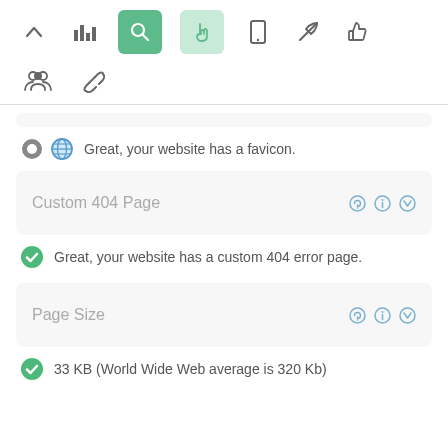[Figure (screenshot): Web app toolbar with icons: up arrow, bar chart, green search button (active), light green cursor/hand button, mobile phone, rocket/send, thumbs up; second row: group of people icon, chain link icon]
Great, your website has a favicon.
Custom 404 Page
Great, your website has a custom 404 error page.
Page Size
33 KB (World Wide Web average is 320 Kb)